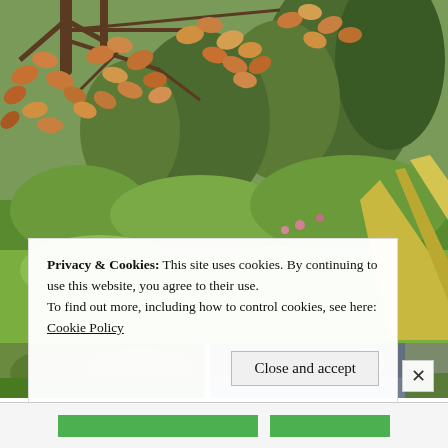[Figure (photo): Garden photograph showing autumn-colored copper/orange leaves in the foreground on tree branches, with lush green garden vegetation and tall trees in the background]
[Figure (photo): Thumbnail strip of three garden photos at the bottom of the main image]
Privacy & Cookies: This site uses cookies. By continuing to use this website, you agree to their use.
To find out more, including how to control cookies, see here: Cookie Policy
Close and accept